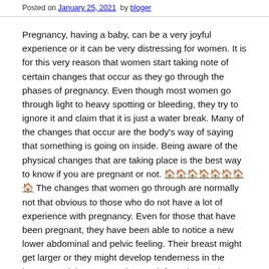Posted on January 25, 2021  by bloger
Pregnancy, having a baby, can be a very joyful experience or it can be very distressing for women. It is for this very reason that women start taking note of certain changes that occur as they go through the phases of pregnancy. Even though most women go through light to heavy spotting or bleeding, they try to ignore it and claim that it is just a water break. Many of the changes that occur are the body's way of saying that something is going on inside. Being aware of the physical changes that are taking place is the best way to know if you are pregnant or not. 🏠🏠🏠🏠🏠🏠🏠🏠 The changes that women go through are normally not that obvious to those who do not have a lot of experience with pregnancy. Even for those that have been pregnant, they have been able to notice a new lower abdominal and pelvic feeling. Their breast might get larger or they might develop tenderness in the breasts and the grooves that are left on the areolas might grow. Note that there is no way to really know what changes that occur in a